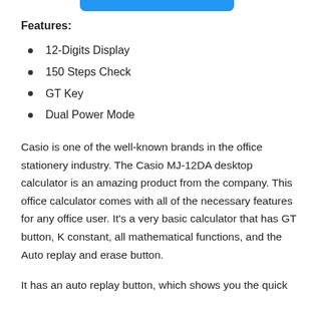Features:
12-Digits Display
150 Steps Check
GT Key
Dual Power Mode
Casio is one of the well-known brands in the office stationery industry. The Casio MJ-12DA desktop calculator is an amazing product from the company. This office calculator comes with all of the necessary features for any office user. It’s a very basic calculator that has GT button, K constant, all mathematical functions, and the Auto replay and erase button.
It has an auto replay button, which shows you the quick